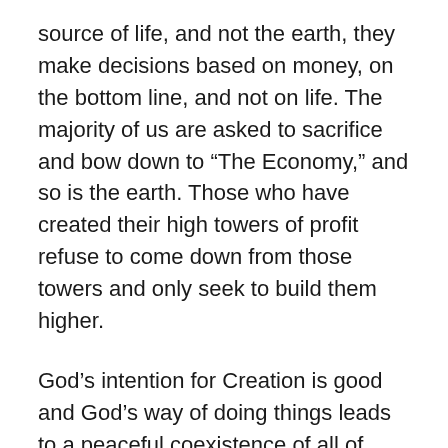source of life, and not the earth, they make decisions based on money, on the bottom line, and not on life. The majority of us are asked to sacrifice and bow down to “The Economy,” and so is the earth. Those who have created their high towers of profit refuse to come down from those towers and only seek to build them higher.
God’s intention for Creation is good and God’s way of doing things leads to a peaceful coexistence of all of Creation. People, created in the image of God, are part of God’s plan for Creation. In fact, the plan needs our cooperation, for we are one of the ways that the source of all life, an immaterial being, interacts with a material Creation.
Humanity was created for a purpose and that purpose is to share with God in the plan for Creation. We…